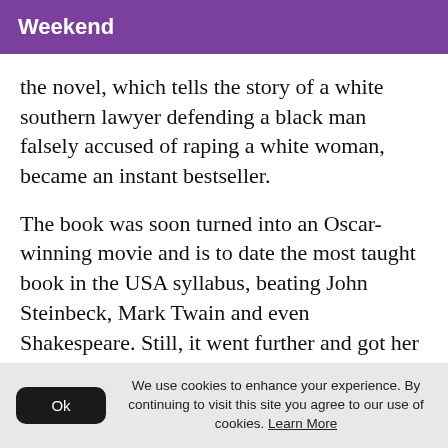Weekend
the novel, which tells the story of a white southern lawyer defending a black man falsely accused of raping a white woman, became an instant bestseller.
The book was soon turned into an Oscar-winning movie and is to date the most taught book in the USA syllabus, beating John Steinbeck, Mark Twain and even Shakespeare. Still, it went further and got her appointed to the National Council for Arts by President Lyndon B. Johnson.
We use cookies to enhance your experience. By continuing to visit this site you agree to our use of cookies. Learn More